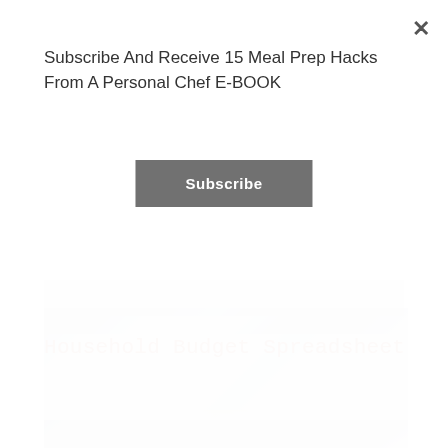[Figure (screenshot): Blurred screenshot of a household budget spreadsheet partially visible behind modal overlay]
Subscribe And Receive 15 Meal Prep Hacks From A Personal Chef E-BOOK
Subscribe
×
Household Budget Spreadsheet
[Figure (photo): Blurred photo of a kitchen appliance (Instant Pot / pressure cooker) and a bowl of food]